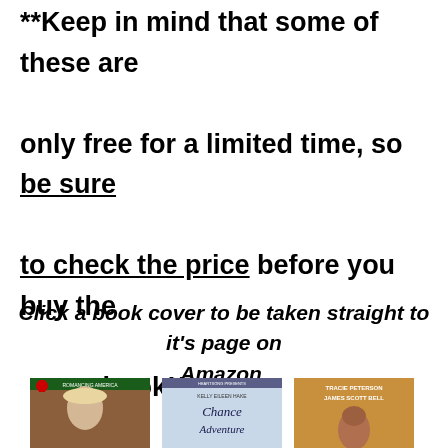**Keep in mind that some of these are only free for a limited time, so be sure to check the price before you buy the book!**
Click a book cover to be taken straight to it's page on Amazon.
[Figure (photo): Three book covers side by side: a romance novel featuring a woman in a hat with Christmas decorations; 'Chance Adventure' by Kelly Eileen Hake; and a book by Tracie Peterson and James Scott Bell featuring a woman with short hair.]